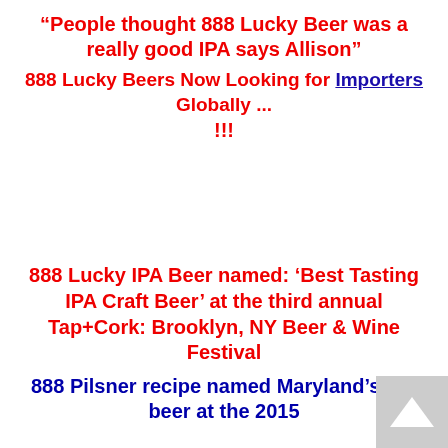“People thought 888 Lucky Beer was a really good IPA says Allison”
888 Lucky Beers Now Looking for Importers Globally ... !!!
888 Lucky IPA Beer named: ‘Best Tasting IPA Craft Beer’ at the third annual Tap+Cork: Brooklyn, NY Beer & Wine Festival
888 Pilsner recipe named Maryland’s top beer at the 2015